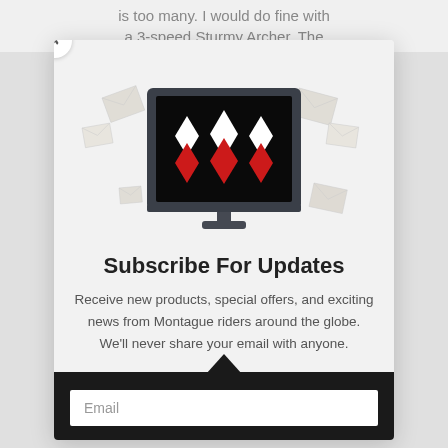is too many. I would do fine with a 3-speed Sturmy Archer. The
[Figure (illustration): Modal popup with Montague logo on a monitor screen, surrounded by floating envelope icons, on a light gray background]
Subscribe For Updates
Receive new products, special offers, and exciting news from Montague riders around the globe. We'll never share your email with anyone.
Email